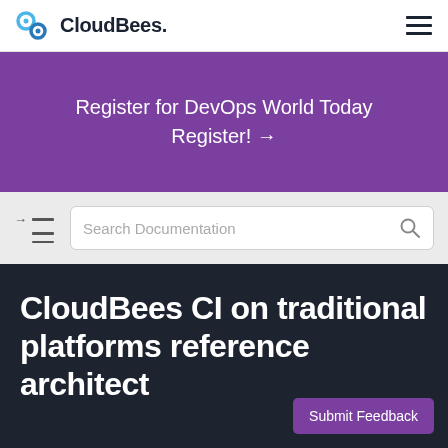CloudBees.
Register for DevOps World Today Register! →
[Figure (screenshot): Search Documentation input field with magnifying glass icon and table-of-contents toggle icon on the left]
CloudBees CI on traditional platforms reference architect